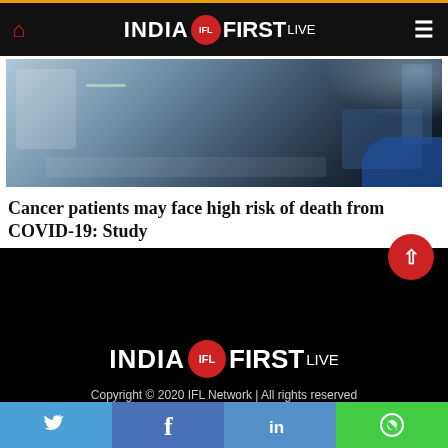INDIA IFL FIRST LIVE — navigation bar
[Figure (photo): Hospital room with medical equipment, ICU-like setting with monitors and tubes]
Cancer patients may face high risk of death from COVID-19: Study
[Figure (logo): India First Live logo — large white text with red circle IFL badge on black background]
Copyright © 2020 IFL Network | All rights reserved
Social share bar: Twitter, Facebook, LinkedIn, WhatsApp